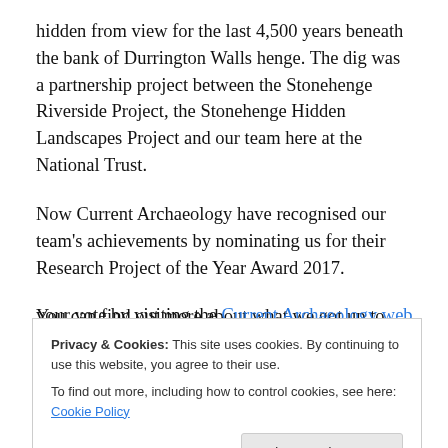hidden from view for the last 4,500 years beneath the bank of Durrington Walls henge. The dig was a partnership project between the Stonehenge Riverside Project, the Stonehenge Hidden Landscapes Project and our team here at the National Trust.
Now Current Archaeology have recognised our team’s achievements by nominating us for their Research Project of the Year Award 2017.
You can find out more about what we got up to and cast your vote by visiting the Current Archaeology website
Privacy & Cookies: This site uses cookies. By continuing to use this website, you agree to their use.
To find out more, including how to control cookies, see here: Cookie Policy
Durrington Walls 2016 –